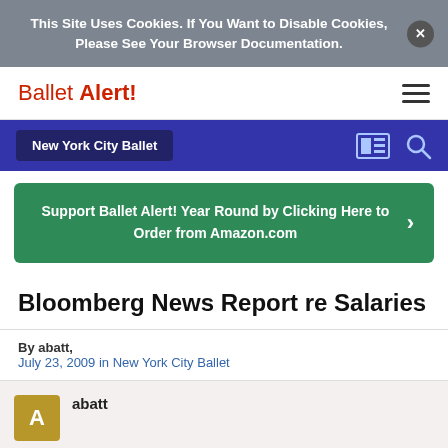This Site Uses Cookies. If You Want to Disable Cookies, Please See Your Browser Documentation.
Ballet Alert!
New York City Ballet
Support Ballet Alert! Year Round by Clicking Here to Order from Amazon.com
Bloomberg News Report re Salaries
By abatt, July 23, 2009 in New York City Ballet
abatt